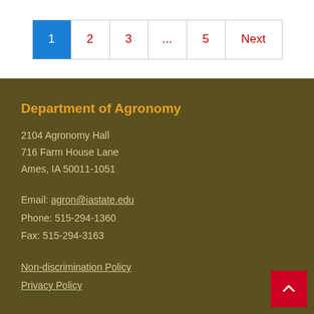1 2 3 ... 5 Next
Department of Agronomy
2104 Agronomy Hall
716 Farm House Lane
Ames, IA 50011-1051
Email: agron@iastate.edu
Phone: 515-294-1360
Fax: 515-294-3163
Non-discrimination Policy
Privacy Policy